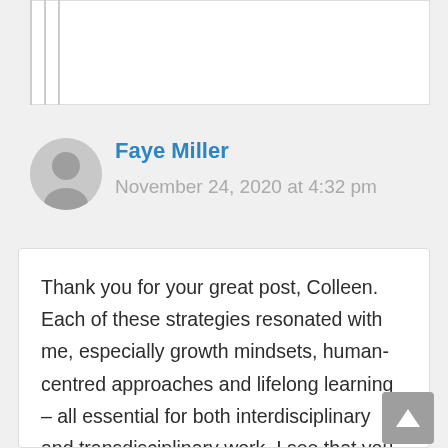Faye Miller
November 24, 2020 at 4:32 pm
Thank you for your great post, Colleen. Each of these strategies resonated with me, especially growth mindsets, human-centred approaches and lifelong learning – all essential for both interdisciplinary and transdisciplinary work. I see that you and I share a background in career development and career integrated learning. I often